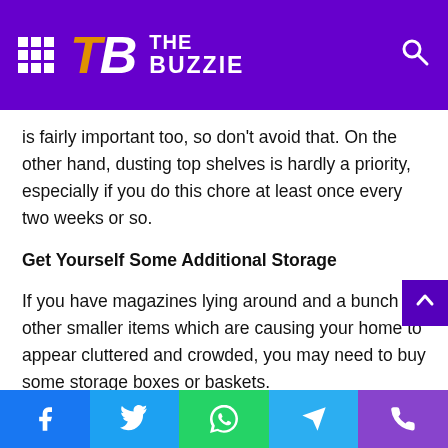THE BUZZIE
is fairly important too, so don't avoid that. On the other hand, dusting top shelves is hardly a priority, especially if you do this chore at least once every two weeks or so.
Get Yourself Some Additional Storage
If you have magazines lying around and a bunch of other smaller items which are causing your home to appear cluttered and crowded, you may need to buy some storage boxes or baskets.
These items can look pretty good, especially if you manage to combine them with the rest of your interior design. Howeve